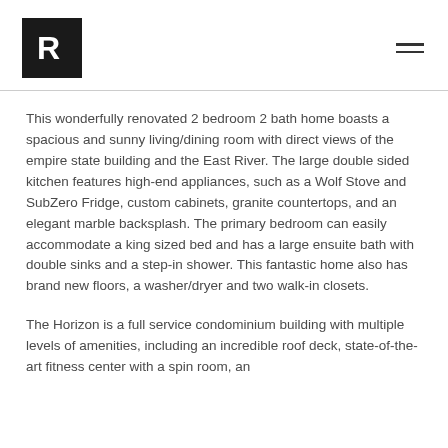R logo and navigation
This wonderfully renovated 2 bedroom 2 bath home boasts a spacious and sunny living/dining room with direct views of the empire state building and the East River. The large double sided kitchen features high-end appliances, such as a Wolf Stove and SubZero Fridge, custom cabinets, granite countertops, and an elegant marble backsplash. The primary bedroom can easily accommodate a king sized bed and has a large ensuite bath with double sinks and a step-in shower. This fantastic home also has brand new floors, a washer/dryer and two walk-in closets.
The Horizon is a full service condominium building with multiple levels of amenities, including an incredible roof deck, state-of-the-art fitness center with a spin room, an